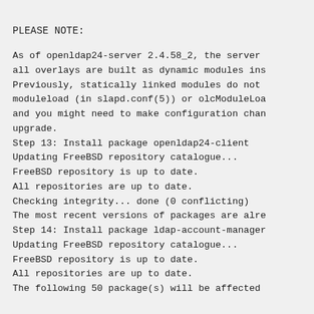PLEASE NOTE:
As of openldap24-server 2.4.58_2, the server all overlays are built as dynamic modules ins Previously, statically linked modules do not moduleload (in slapd.conf(5)) or olcModuleLoa and you might need to make configuration chan upgrade.
Step 13: Install package openldap24-client
Updating FreeBSD repository catalogue...
FreeBSD repository is up to date.
All repositories are up to date.
Checking integrity... done (0 conflicting)
The most recent versions of packages are alre
Step 14: Install package ldap-account-manager
Updating FreeBSD repository catalogue...
FreeBSD repository is up to date.
All repositories are up to date.
The following 50 package(s) will be affected